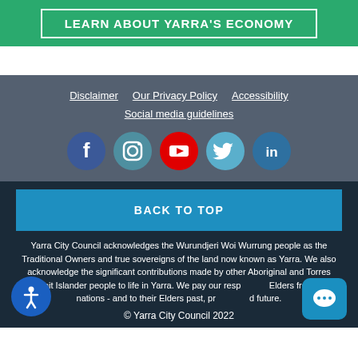LEARN ABOUT YARRA'S ECONOMY
Disclaimer   Our Privacy Policy   Accessibility
Social media guidelines
[Figure (other): Social media icons: Facebook, Instagram, YouTube, Twitter, LinkedIn]
BACK TO TOP
Yarra City Council acknowledges the Wurundjeri Woi Wurrung people as the Traditional Owners and true sovereigns of the land now known as Yarra. We also acknowledge the significant contributions made by other Aboriginal and Torres Strait Islander people to life in Yarra. We pay our respect to Elders from all nations - and to their Elders past, present and future.
© Yarra City Council 2022